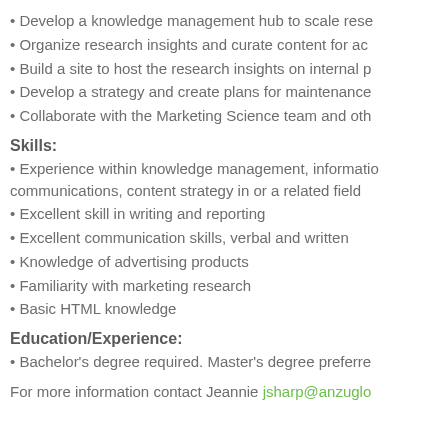Develop a knowledge management hub to scale rese...
Organize research insights and curate content for ac...
Build a site to host the research insights on internal p...
Develop a strategy and create plans for maintenance...
Collaborate with the Marketing Science team and oth...
Skills:
Experience within knowledge management, informatio... communications, content strategy in or a related field...
Excellent skill in writing and reporting
Excellent communication skills, verbal and written
Knowledge of advertising products
Familiarity with marketing research
Basic HTML knowledge
Education/Experience:
Bachelor's degree required. Master's degree preferre...
For more information contact Jeannie jsharp@anzuglo...